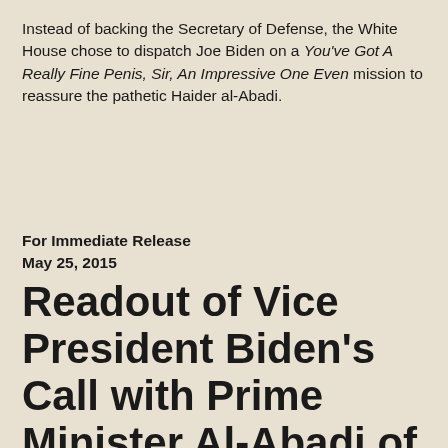Instead of backing the Secretary of Defense, the White House chose to dispatch Joe Biden on a You've Got A Really Fine Penis, Sir, An Impressive One Even mission to reassure the pathetic Haider al-Abadi.
For Immediate Release
May 25, 2015
Readout of Vice President Biden's Call with Prime Minister Al-Abadi of Iraq